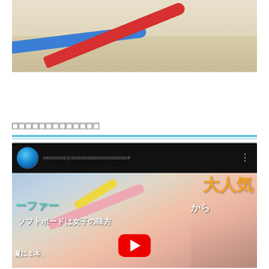[Figure (photo): Top portion of beach scene showing blue and red surfboards on sandy beach]
□□□□□□□□□□□□□
[Figure (screenshot): YouTube video embed showing surfboard promotional video with Japanese text overlays: ファーから 大人気, ソフトボードは女子の味方, 夏に１本、 with YouTube play button]